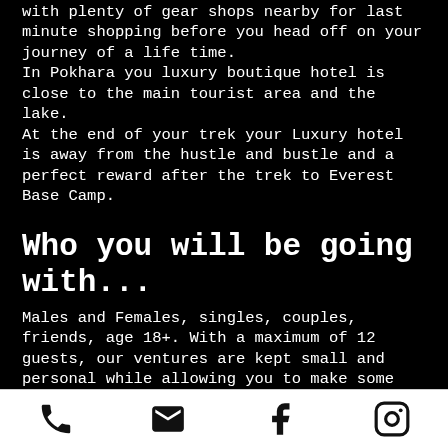with plenty of gear shops nearby for last minute shopping before you head off on your journey of a life time. In Pokhara you luxury boutique hotel is close to the main tourist area and the lake. At the end of your trek your Luxury hotel is away from the hustle and bustle and a perfect reward after the trek to Everest Base Camp.
Who you will be going with...
Males and Females, singles, couples, friends, age 18+. With a maximum of 12 guests, our ventures are kept small and personal while allowing you to make some great new friends with like-minded people. Our Mountain Ventures local guides and porters will also be available to you all the time. Everyone who attends this venture requires a medical certificate obtained from their local doctor.
[phone] [email] [facebook] [instagram]